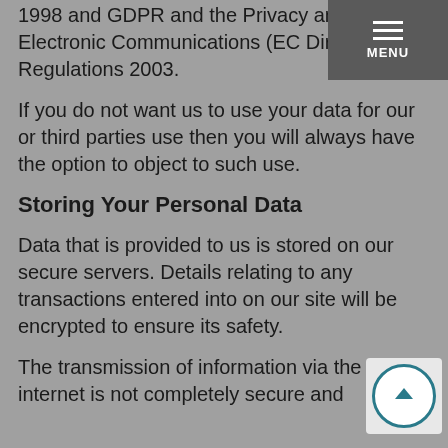1998 and GDPR and the Privacy and Electronic Communications (EC Directive) Regulations 2003.
If you do not want us to use your data for our or third parties use then you will always have the option to object to such use.
Storing Your Personal Data
Data that is provided to us is stored on our secure servers. Details relating to any transactions entered into on our site will be encrypted to ensure its safety.
The transmission of information via the internet is not completely secure and